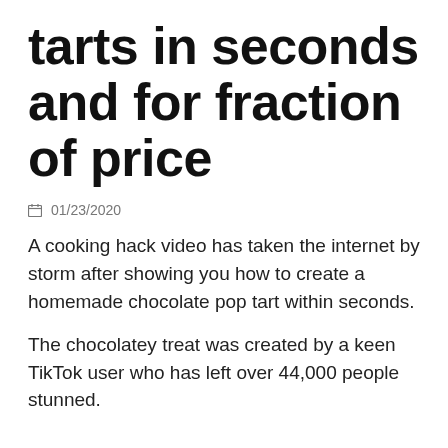tarts in seconds and for fraction of price
01/23/2020
A cooking hack video has taken the internet by storm after showing you how to create a homemade chocolate pop tart within seconds.
The chocolatey treat was created by a keen TikTok user who has left over 44,000 people stunned.